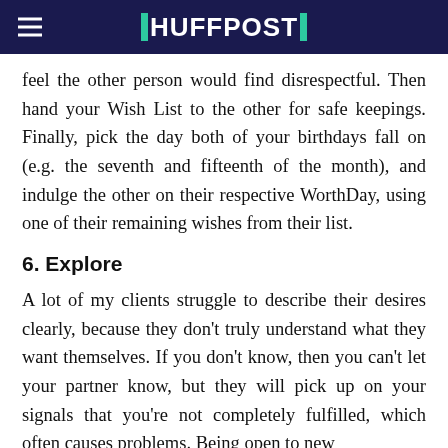HUFFPOST
feel the other person would find disrespectful. Then hand your Wish List to the other for safe keepings. Finally, pick the day both of your birthdays fall on (e.g. the seventh and fifteenth of the month), and indulge the other on their respective WorthDay, using one of their remaining wishes from their list.
6. Explore
A lot of my clients struggle to describe their desires clearly, because they don't truly understand what they want themselves. If you don't know, then you can't let your partner know, but they will pick up on your signals that you're not completely fulfilled, which often causes problems. Being open to new...